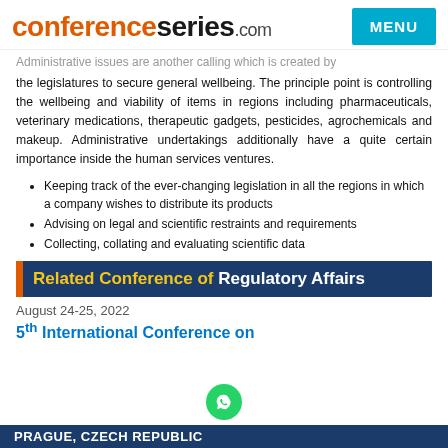conferenceseries.com
Administrative issues are another calling which is created by the legislatures to secure general wellbeing. The principle point is controlling the wellbeing and viability of items in regions including pharmaceuticals, veterinary medications, therapeutic gadgets, pesticides, agrochemicals and makeup. Administrative undertakings additionally have a quite certain importance inside the human services ventures.
Keeping track of the ever-changing legislation in all the regions in which a company wishes to distribute its products
Advising on legal and scientific restraints and requirements
Collecting, collating and evaluating scientific data
Related Conference of Regulatory Affairs
August 24-25, 2022
5th International Conference on
PRAGUE, CZECH REPUBLIC